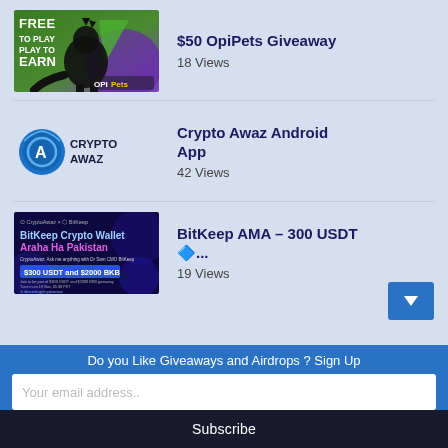[Figure (photo): OpiPets game thumbnail: green and purple background with silhouette of dinosaur character and text FREE TO PLAY PLAY TO EARN, OpiPets logo]
$50 OpiPets Giveaway
18 Views
[Figure (logo): CryptoAwaz logo: blue circular emblem with stylized A letter and CRYPTOAWAZ wordmark]
Crypto Awaz Android App
42 Views
[Figure (photo): BitKeep AMA promotional banner: dark blue background with text BitKeep Crypto Wallet Araha Ha Pakistan, $300 USDT and $2000 BKB, CryptoAwaz x BitKeep logos]
BitKeep AMA – 300 USDT 🔷...
19 Views
Do you Like Giveaways and Airdrops ? Sign Up
Your email address..
Subscribe